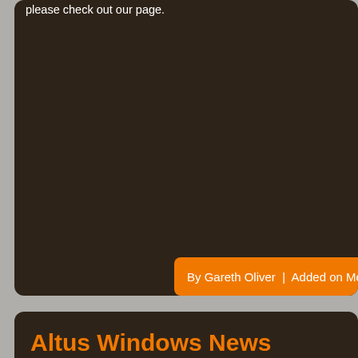please check out our page.
By Gareth Oliver  |  Added on Monday 13 March 201…
Altus Windows News Update
Just a bit of an update on our whereabouts.
Conservatories are proving to be really popular at present with p… to their properties instead of moving house.
We are still fitting many front and back doors too, mainly Compo…
Anthracite Grey is hugely popular at present as is Black and Ch… offer a wide choice of colours and even fitted a bright yellow fr…